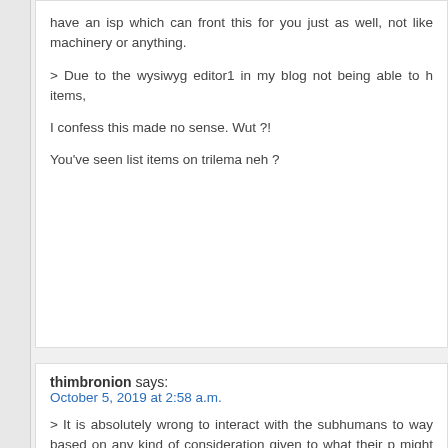have an isp which can front this for you just as well, not like machinery or anything.
> Due to the wysiwyg editor1 in my blog not being able to h items,
I confess this made no sense. Wut ?!
You've seen list items on trilema neh ?
thimbronion says: October 5, 2019 at 2:58 a.m.
> It is absolutely wrong to interact with the subhumans to way based on any kind of consideration given to what their p might supposedly be taken as or interpreted to if the speake
This is clear to me.
> Exactly how and in what order or by what timing etcete foregoing to make it stick is entirely your business (and em diplomatic agent), but it is what it is, and that precisely it fuck
I understand this. TMSR is not beholden to these networks. sins, and if they properly understood the situation they wou the republic to join.
> It doesn't have to be your own server unless for some re We have an isp which can front this for you just as well, space or machinery or anything.